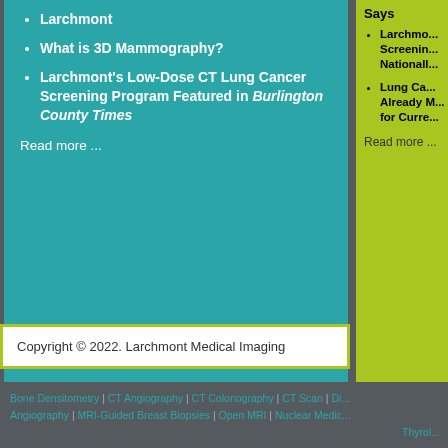Larchmont
What is 3D Mammography?
Larchmont's Low-Dose CT Lung Cancer Screening Program Featured in Burlington County Times
Read more ...
Says
Larchmont Screening Nationally
Lung Ca... Already M... for Curre...
Read more ...
Copyright © 2022. Larchmont Medical Imaging
Bone Densitometry | CT Angiography | CT Colonography | CT Scan | Di... Angiography | MRI-Guided Breast Biopsies | Open MRI | Nuclear Medic... Thyrol...